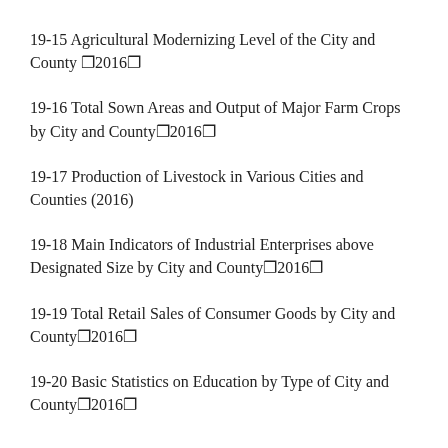19-15 Agricultural Modernizing Level of the City and County ▯2016▯
19-16 Total Sown Areas and Output of Major Farm Crops by City and County▯2016▯
19-17 Production of Livestock in Various Cities and Counties (2016)
19-18 Main Indicators of Industrial Enterprises above Designated Size by City and County▯2016▯
19-19 Total Retail Sales of Consumer Goods by City and County▯2016▯
19-20 Basic Statistics on Education by Type of City and County▯2016▯